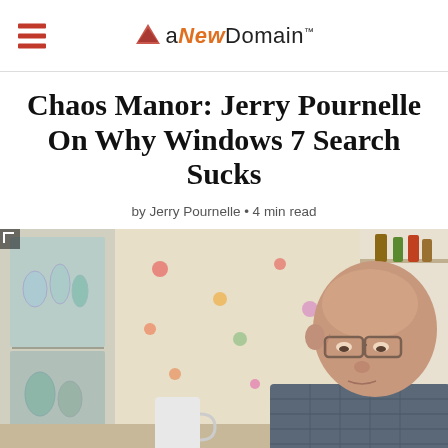aNewDomain
Chaos Manor: Jerry Pournelle On Why Windows 7 Search Sucks
by Jerry Pournelle • 4 min read
[Figure (photo): An elderly man with glasses, balding, wearing a plaid shirt, looking downward. He is seated at a table with a white mug visible. Behind him is a cabinet with glassware and floral wallpaper with colorful flowers. Bottles are visible on a shelf in the upper right background.]